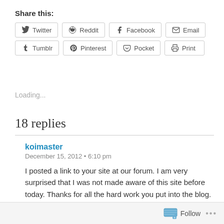Share this:
[Figure (infographic): Social share buttons: Twitter, Reddit, Facebook, Email, Tumblr, Pinterest, Pocket, Print]
Loading...
18 replies
koimaster
December 15, 2012 • 6:10 pm
I posted a link to your site at our forum. I am very surprised that I was not made aware of this site before today. Thanks for all the hard work you put into the blog. If you ever visit our place, feel free to join or use anything on the site that you might find of interest.
Follow ...